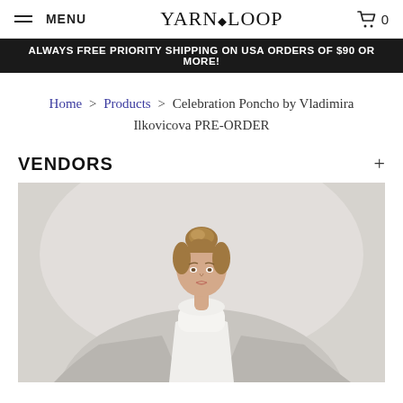MENU | YARN♦LOOP | 🛒 0
ALWAYS FREE PRIORITY SHIPPING ON USA ORDERS OF $90 OR MORE!
Home > Products > Celebration Poncho by Vladimira Ilkovicova PRE-ORDER
VENDORS +
[Figure (photo): A woman with hair up in a bun wearing a white turtleneck and a light grey open knit cardigan/poncho, with a light background.]